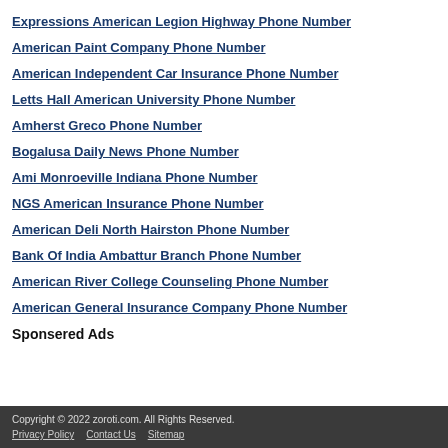Expressions American Legion Highway Phone Number
American Paint Company Phone Number
American Independent Car Insurance Phone Number
Letts Hall American University Phone Number
Amherst Greco Phone Number
Bogalusa Daily News Phone Number
Ami Monroeville Indiana Phone Number
NGS American Insurance Phone Number
American Deli North Hairston Phone Number
Bank Of India Ambattur Branch Phone Number
American River College Counseling Phone Number
American General Insurance Company Phone Number
Sponsered Ads
Copyright © 2022 zoroti.com. All Rights Reserved. Privacy Policy Contact Us Sitemap